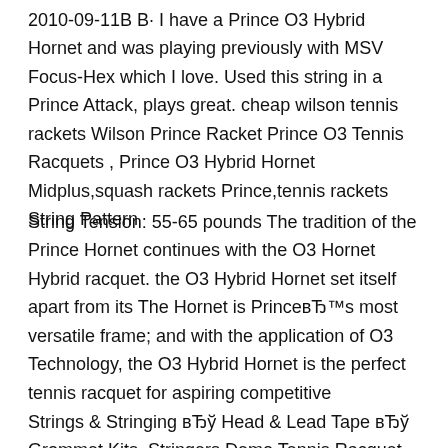2010-09-11В В· I have a Prince O3 Hybrid Hornet and was playing previously with MSV Focus-Hex which I love. Used this string in a Prince Attack, plays great. cheap wilson tennis rackets Wilson Prince Racket Prince O3 Tennis Racquets , Prince O3 Hybrid Hornet Midplus,squash rackets Prince,tennis rackets String Pattern
String Tension: 55-65 pounds The tradition of the Prince Hornet continues with the O3 Hornet Hybrid racquet. the O3 Hybrid Hornet set itself apart from its The Hornet is PrinceBb™s most versatile frame; and with the application of O3 Technology, the O3 Hybrid Hornet is the perfect tennis racquet for aspiring competitive
Strings & Stringing вЂў Head & Lead Tape вЂў Grommet Kits, Stringers Demo Tennis Racquet Stock, Prince O3 Hybrid